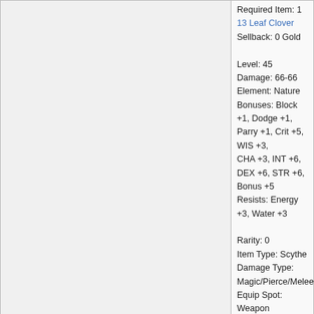Required Item: 1 13 Leaf Clover
Sellback: 0 Gold

Level: 45
Damage: 66-66
Element: Nature
Bonuses: Block +1, Dodge +1, Parry +1, Crit +5, WIS +3, CHA +3, INT +6, DEX +6, STR +6, Bonus +5
Resists: Energy +3, Water +3

Rarity: 0
Item Type: Scythe
Damage Type: Magic/Pierce/Melee
Equip Spot: Weapon
Category: Weapon
DF  AQW  PM  Addr.  Block  Post #: 4
4/17/2018 3:41:44
Peachii
ArchKnight
Clairvoyant!
DragonFable & MechQuest
[Figure (illustration): Circular avatar image of an anime-style girl with pink/red hair holding a teddy bear]
[Figure (logo): Black diamond/shield logo with SEASONAL! text in gold serif font]
Unlucky Clover V
This mystical weapon was grown from your multidimensional 13-leaf clover! It pulses with chaotic energy. Who says I'm unlucky? Was it you?
(No DA Required)
Location: 13 Leaf Clover (Shop)
Price: N/A
Required Item: 1 13 Leaf Clover
Sellback: 0 Gold